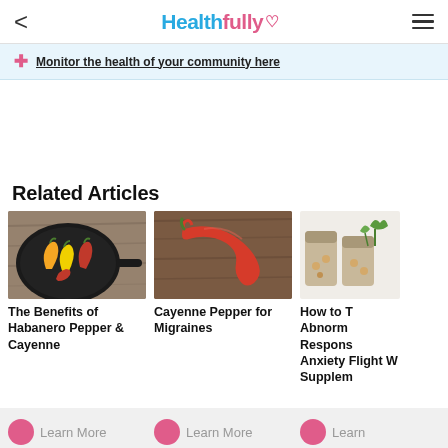Healthfully
Monitor the health of your community here
Related Articles
[Figure (photo): A cast iron skillet with colorful habanero and cayenne peppers (orange, yellow, red) on a wooden surface]
The Benefits of Habanero Pepper & Cayenne
[Figure (photo): A single red cayenne pepper lying on a dark wooden surface]
Cayenne Pepper for Migraines
[Figure (photo): Glass jars with supplements and green herbs/plant leaves]
How to Treat Abnormal Response Anxiety Flight W Supplem
Learn More
Learn More
Learn More